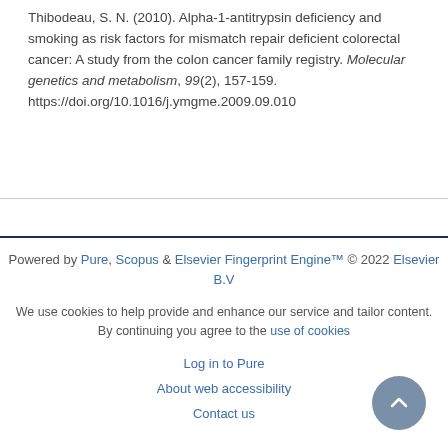Thibodeau, S. N. (2010). Alpha-1-antitrypsin deficiency and smoking as risk factors for mismatch repair deficient colorectal cancer: A study from the colon cancer family registry. Molecular genetics and metabolism, 99(2), 157-159. https://doi.org/10.1016/j.ymgme.2009.09.010
Powered by Pure, Scopus & Elsevier Fingerprint Engine™ © 2022 Elsevier B.V
We use cookies to help provide and enhance our service and tailor content. By continuing you agree to the use of cookies
Log in to Pure
About web accessibility
Contact us